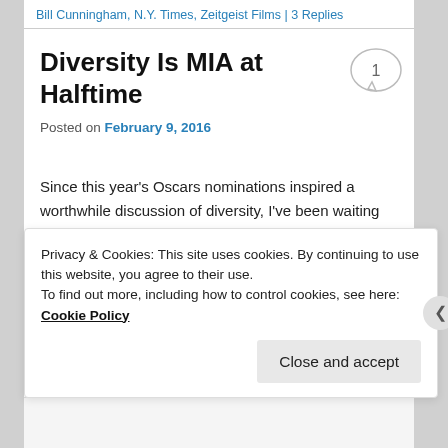Bill Cunningham, N.Y. Times, Zeitgeist Films | 3 Replies
Diversity Is MIA at Halftime
Posted on February 9, 2016
Since this year’s Oscars nominations inspired a worthwhile discussion of diversity, I’ve been waiting for the entertainment media to say more about inclusion – or the lack of representation. Super Bowl halftime show...
Privacy & Cookies: This site uses cookies. By continuing to use this website, you agree to their use.
To find out more, including how to control cookies, see here: Cookie Policy
Close and accept